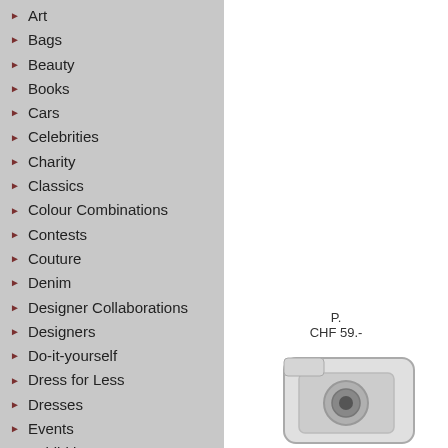Art
Bags
Beauty
Books
Cars
Celebrities
Charity
Classics
Colour Combinations
Contests
Couture
Denim
Designer Collaborations
Designers
Do-it-yourself
Dress for Less
Dresses
Events
Exhibitions
Fall/Winter 2010
Fall/Winter 2011
Fall/Winter 2012
CHF 59.-
[Figure (photo): Partial view of a product (appears to be a camera or device), bottom-right of page]